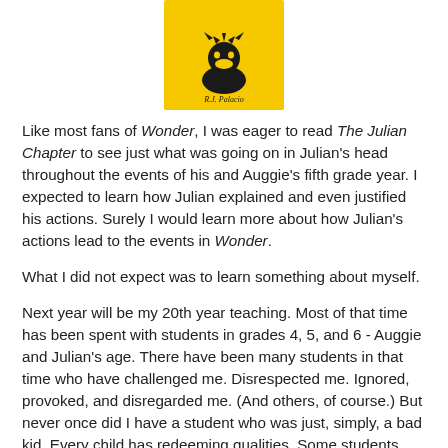[Figure (illustration): Book cover of 'Wonder' with yellow background, black silhouette of a child with leaves/stars on head, and author name 'R.J. Palacio' at the bottom]
Like most fans of Wonder, I was eager to read The Julian Chapter to see just what was going on in Julian's head throughout the events of his and Auggie's fifth grade year. I expected to learn how Julian explained and even justified his actions. Surely I would learn more about how Julian's actions lead to the events in Wonder.
What I did not expect was to learn something about myself.
Next year will be my 20th year teaching. Most of that time has been spent with students in grades 4, 5, and 6 - Auggie and Julian's age. There have been many students in that time who have challenged me. Disrespected me. Ignored, provoked, and disregarded me. (And others, of course.) But never once did I have a student who was just, simply, a bad kid. Every child has redeeming qualities. Some students just hide those qualities and make it more challenging for teachers to find them.
Yet after reading Wonder, I was more than happy to leave Julian as the antagonist. The bad kid. The source of all the